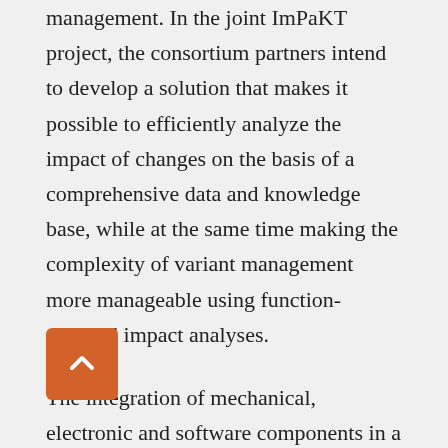management. In the joint ImPaKT project, the consortium partners intend to develop a solution that makes it possible to efficiently analyze the impact of changes on the basis of a comprehensive data and knowledge base, while at the same time making the complexity of variant management more manageable using function-oriented impact analyses.
The integration of mechanical, electronic and software components in a single product requires an interdisciplinary development process. A key objective of the project is the creation of a reference architecture for end-to-end model-based system development that links the partial models in the existing data repositories from the development of mechanical, electrical and